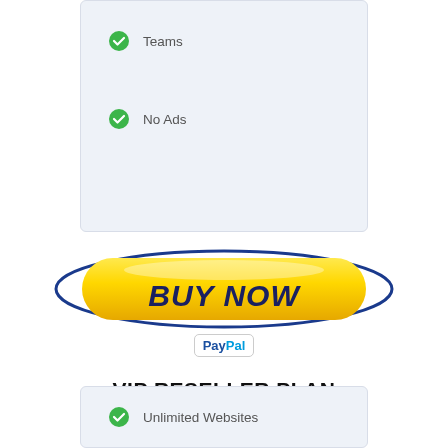Teams
No Ads
[Figure (illustration): Yellow 'BUY NOW' button with blue oval border and PayPal badge below]
VIP RESELLER PLAN
Unlimited Websites